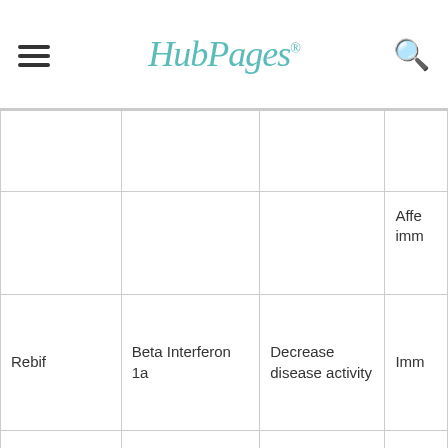HubPages
| Drug | Active Ingredient / Manufacturer | Indication / Use | Mechanism (clipped) |
| --- | --- | --- | --- |
|  |  |  |  |
|  |  |  | Affe imm |
| Rebif | Beta Interferon 1a | Decrease disease activity | Imm |
| Sandoglobulin | Human Immune Globulin | Severe Worsening | Imm Mod |
| Antegren, LeukArrest monoclonal Abs | Elan, ICOS Pharmaceuticals. | Blocks acute attack | Blo adh ves |
|  | Anti-T-Helper Antibodies | Attack, ?Betw Attacks | Offe Cell |